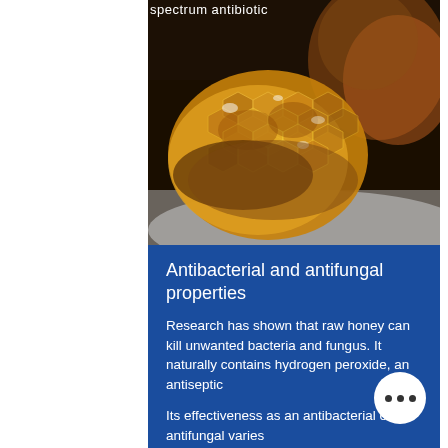spectrum antibiotic
[Figure (photo): Close-up photograph of raw honeycomb pieces with honey on a white surface, with a blurred jar of honey in the background]
Antibacterial and antifungal properties
Research has shown that raw honey can kill unwanted bacteria and fungus. It naturally contains hydrogen peroxide, an antiseptic
Its effectiveness as an antibacterial or antifungal varies